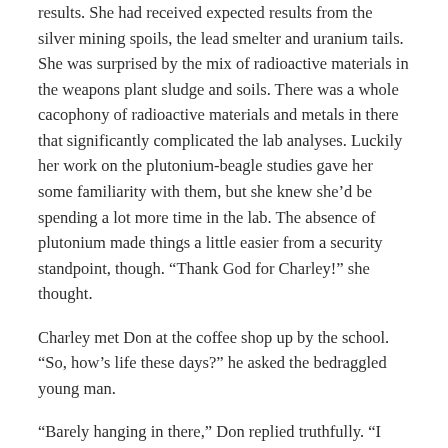results. She had received expected results from the silver mining spoils, the lead smelter and uranium tails. She was surprised by the mix of radioactive materials in the weapons plant sludge and soils. There was a whole cacophony of radioactive materials and metals in there that significantly complicated the lab analyses. Luckily her work on the plutonium-beagle studies gave her some familiarity with them, but she knew she'd be spending a lot more time in the lab. The absence of plutonium made things a little easier from a security standpoint, though. “Thank God for Charley!” she thought.
Charley met Don at the coffee shop up by the school. “So, how’s life these days?” he asked the bedraggled young man.
“Barely hanging in there,” Don replied truthfully. “I switched to a night job, so I can sleep during the